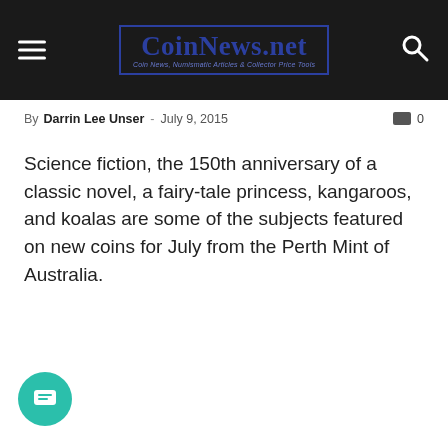CoinNews.net — Coin News, Numismatic Articles & Collector Price Tools
By Darrin Lee Unser - July 9, 2015   0
Science fiction, the 150th anniversary of a classic novel, a fairy-tale princess, kangaroos, and koalas are some of the subjects featured on new coins for July from the Perth Mint of Australia.